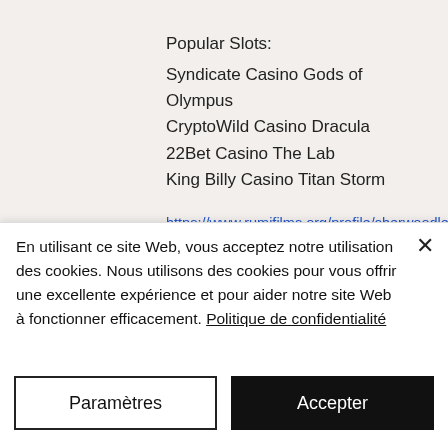Popular Slots:
Syndicate Casino Gods of Olympus
CryptoWild Casino Dracula
22Bet Casino The Lab
King Billy Casino Titan Storm
https://www.rumifilms.org/profile/sherwoodleak14338214/profile
https://www.medicalhigh.ca/profile/migdaliadimock10464538/profile
https://www.lipbaylondon.com/profile/leonidawilbanks8541091/profile
En utilisant ce site Web, vous acceptez notre utilisation des cookies. Nous utilisons des cookies pour vous offrir une excellente expérience et pour aider notre site Web à fonctionner efficacement. Politique de confidentialité
Paramètres
Accepter